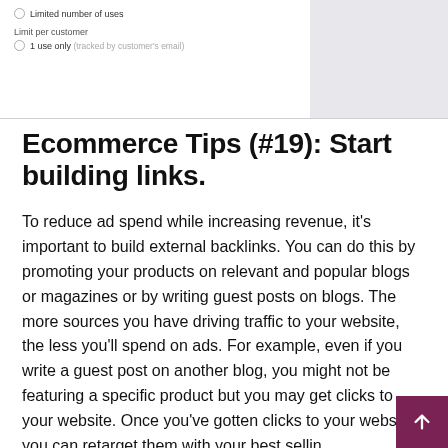Limited number of uses
Limit per customer
1 use only (tracked by customer's email)
Ecommerce Tips (#19): Start building links.
To reduce ad spend while increasing revenue, it's important to build external backlinks. You can do this by promoting your products on relevant and popular blogs or magazines or by writing guest posts on blogs. The more sources you have driving traffic to your website, the less you'll spend on ads. For example, even if you write a guest post on another blog, you might not be featuring a specific product but you may get clicks to your website. Once you've gotten clicks to your website you can retarget them with your best selling product which will be a lot cheaper than trying to find someone new to your website.